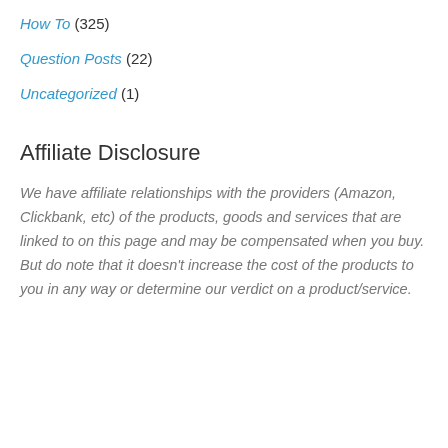How To (325)
Question Posts (22)
Uncategorized (1)
Affiliate Disclosure
We have affiliate relationships with the providers (Amazon, Clickbank, etc) of the products, goods and services that are linked to on this page and may be compensated when you buy. But do note that it doesn't increase the cost of the products to you in any way or determine our verdict on a product/service.